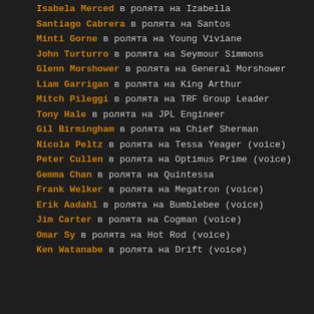Isabela Merced в ролята на Izabella
Santiago Cabrera в ролята на Santos
Minti Gorne в ролята на Young Viviane
John Turturro в ролята на Seymour Simmons
Glenn Morshower в ролята на General Morshower
Liam Garrigan в ролята на King Arthur
Mitch Pileggi в ролята на TRF Group Leader
Tony Hale в ролята на JPL Engineer
Gil Birmingham в ролята на Chief Sherman
Nicola Peltz в ролята на Tessa Yeager (voice)
Peter Cullen в ролята на Optimus Prime (voice)
Gemma Chan в ролята на Quintessa
Frank Welker в ролята на Megatron (voice)
Erik Aadahl в ролята на Bumblebee (voice)
Jim Carter в ролята на Cogman (voice)
Omar Sy в ролята на Hot Rod (voice)
Ken Watanabe в ролята на Drift (voice)